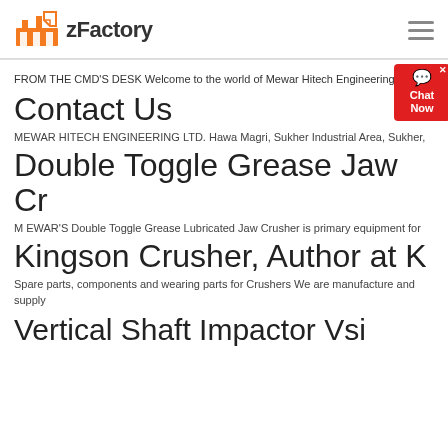zFactory
FROM THE CMD'S DESK Welcome to the world of Mewar Hitech Engineering Ltd
Contact Us
MEWAR HITECH ENGINEERING LTD. Hawa Magri, Sukher Industrial Area, Sukher,
Double Toggle Grease Jaw Cr
M EWAR'S Double Toggle Grease Lubricated Jaw Crusher is primary equipment for
Kingson Crusher, Author at K
Spare parts, components and wearing parts for Crushers We are manufacture and supply
Vertical Shaft Impactor Vsi